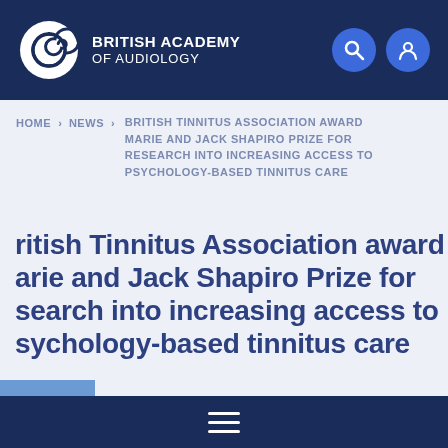BRITISH ACADEMY OF AUDIOLOGY
HOME > NEWS > BRITISH TINNITUS ASSOCIATION AWARD MARIE AND JACK SHAPIRO PRIZE FOR RESEARCH INTO INCREASING ACCESS TO PSYCHOLOGY-BASED TINNITUS CARE
British Tinnitus Association award Marie and Jack Shapiro Prize for research into increasing access to psychology-based tinnitus care